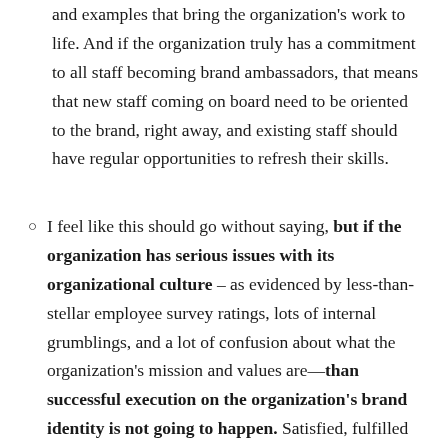and examples that bring the organization's work to life. And if the organization truly has a commitment to all staff becoming brand ambassadors, that means that new staff coming on board need to be oriented to the brand, right away, and existing staff should have regular opportunities to refresh their skills.
I feel like this should go without saying, but if the organization has serious issues with its organizational culture – as evidenced by less-than-stellar employee survey ratings, lots of internal grumblings, and a lot of confusion about what the organization's mission and values are—than successful execution on the organization's brand identity is not going to happen. Satisfied, fulfilled employees make the best brand ambassadors. A